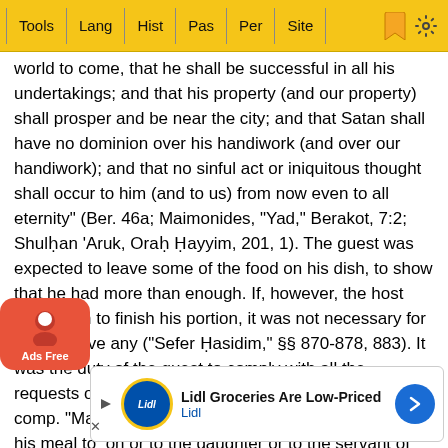Tools | Lang | Hist | Pas | Per | Site
world to come, that he shall be successful in all his undertakings; and that his property (and our property) shall prosper and be near the city; and that Satan shall have no dominion over his handiwork (and over our handiwork); and that no sinful act or iniquitous thought shall occur to him (and to us) from now even to all eternity" (Ber. 46a; Maimonides, "Yad," Berakot, 7:2; Shulḥan 'Aruk, Oraḥ Ḥayyim, 201, 1). The guest was expected to leave some of the food on his dish, to show that he had more than enough. If, however, the host asked him to finish his portion, it was not necessary for him to leave any ("Sefer Ḥasidim," §§ 870-878, 883). It was the duty of the guest to comply with all the requests of the host (Pes. 86b; Oraḥ Ḥayyim, 170, 5; comp. "Magen Abraham" ad loc.). He might not give of his meal to [the s]on or to the daughter or to the servant of the host with[o]ut the host's permission (Ḥul. 94a; Derek Ereẓ Rabbah; "Yad," c. 7:10; Oraḥ Ḥayyim, 170, 19). The habitual parasite, who t[ook advantage of another's] house of an[other…]